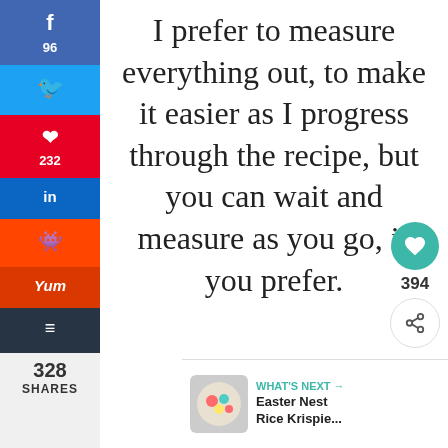[Figure (infographic): Left vertical social sharing sidebar with buttons for Facebook (96 shares), Twitter, Pinterest (232 shares), LinkedIn, Reddit, Yummly, and Buffer]
I prefer to measure everything out, to make it easier as I progress through the recipe, but you can wait and measure as you go, if you prefer.
328 SHARES
[Figure (infographic): Heart/like button showing 394 count and a share button widget on the right side]
WHAT'S NEXT → Easter Nest Rice Krispie...